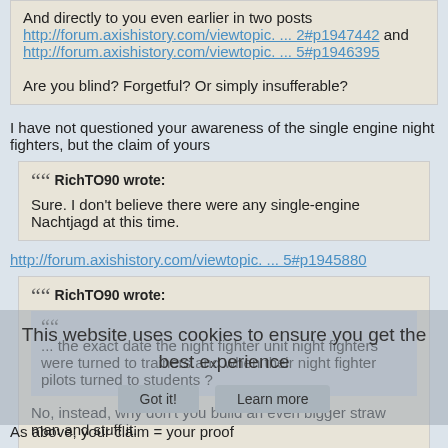And directly to you even earlier in two posts http://forum.axishistory.com/viewtopic. ... 2#p1947442 and http://forum.axishistory.com/viewtopic. ... 5#p1946395
Are you blind? Forgetful? Or simply insufferable?
I have not questioned your awareness of the single engine night fighters, but the claim of yours
RichTO90 wrote: Sure. I don't believe there were any single-engine Nachtjagd at this time.
http://forum.axishistory.com/viewtopic. ... 5#p1945880
RichTO90 wrote: ... the exact date the night fighter unit night fighters were turned to trainers and when their night fighter pilots turned to students ?
No, instead, why don't you build an even bigger straw man and stuff it.
As above, your claim = your proof